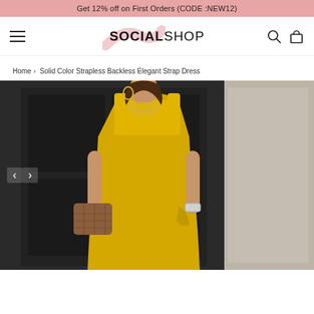Get 12% off on First Orders (CODE :NEW12)
[Figure (logo): SocialShop logo with pink swoosh brushstroke behind SOCIALSHOP text, hamburger menu icon on left, search and bag icons on right]
Home › Solid Color Strapless Backless Elegant Strap Dress
[Figure (photo): Woman wearing a yellow oversized sleeveless square-neck strap dress, holding a brown quilted bag, wearing gold chain necklace and hoop earrings, standing in front of a dark ornate door. Navigation arrows (< and >) visible on the left side of the image.]